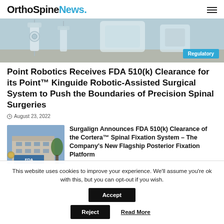OrthoSpineNews.
[Figure (photo): Medical/surgical robot equipment in an operating room, with a 'Regulatory' badge overlay in the bottom-right corner.]
Point Robotics Receives FDA 510(k) Clearance for its Point™ Kinguide Robotic-Assisted Surgical System to Push the Boundaries of Precision Spinal Surgeries
August 23, 2022
[Figure (photo): FDA building exterior with sign reading 'U.S. Department of Health and Human Services Food and Drug Administration']
Surgalign Announces FDA 510(k) Clearance of the Cortera™ Spinal Fixation System – The Company's New Flagship Posterior Fixation Platform
This website uses cookies to improve your experience. We'll assume you're ok with this, but you can opt-out if you wish.
Accept
Reject
Read More